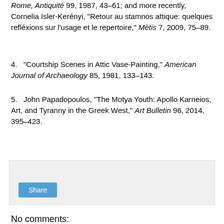Rome, Antiquité 99, 1987, 43–61; and more recently, Cornelia Isler-Kerényi, "Retour au stamnos attique: quelques refléxions sur l'usage et le repertoire," Mètis 7, 2009, 75–89.
4.   "Courtship Scenes in Attic Vase-Painting," American Journal of Archaeology 85, 1981, 133–143.
5.   John Papadopoulos, "The Motya Youth: Apollo Karneios, Art, and Tyranny in the Greek West," Art Bulletin 96, 2014, 395–423.
[Figure (other): Share button area with light grey background]
No comments:
Post a Comment
Note: Only a member of this blog may post a comment.